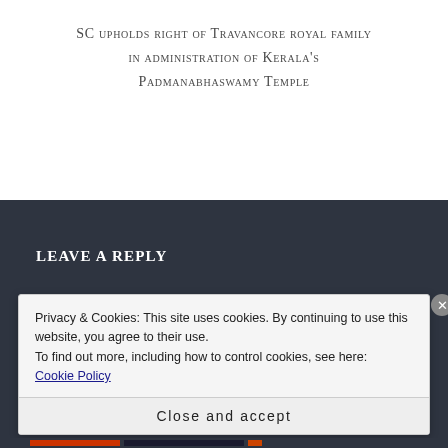SC upholds right of Travancore royal family in administration of Kerala's Padmanabhaswamy Temple
Leave a Reply
Privacy & Cookies: This site uses cookies. By continuing to use this website, you agree to their use.
To find out more, including how to control cookies, see here: Cookie Policy
Close and accept